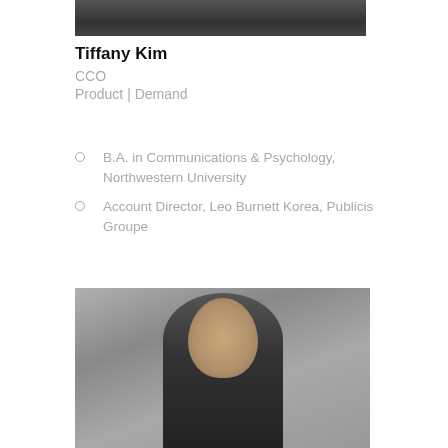[Figure (photo): Partial cropped photo of Tiffany Kim (top portion, showing dark clothing/shoulders area)]
Tiffany Kim
CCO
Product | Demand
B.A. in Communications & Psychology, Northwestern University
Account Director, Leo Burnett Korea, Publicis Groupe
[Figure (photo): Black and white portrait photo of a young woman with long dark hair, wearing a dark top, against a light gray background]